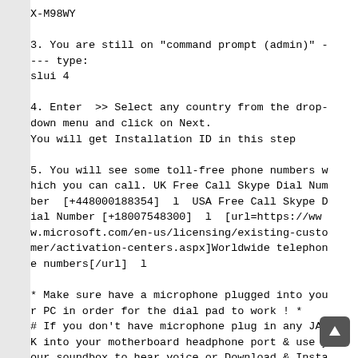X-M98WY

3. You are still on "command prompt (admin)" ---- type:
slui 4

4. Enter  >> Select any country from the drop-down menu and click on Next.
You will get Installation ID in this step

5. You will see some toll-free phone numbers which you can call. UK Free Call Skype Dial Number  [+448000188354]  l  USA Free Call Skype Dial Number [+18007548300]  l  [url=https://www.microsoft.com/en-us/licensing/existing-customer/activation-centers.aspx]Worldwide telephone numbers[/url]  l

* Make sure have a microphone plugged into your PC in order for the dial pad to work ! *
# If you don't have microphone plug in any JACK into your motherboard headphone port & use your soundbox to hear voice or Download & Insta